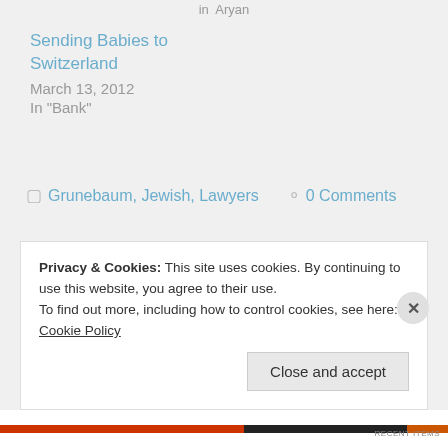in Aryan
Sending Babies to Switzerland
March 13, 2012
In "Bank"
Grunebaum, Jewish, Lawyers  0 Comments
Privacy & Cookies: This site uses cookies. By continuing to use this website, you agree to their use.
To find out more, including how to control cookies, see here: Cookie Policy